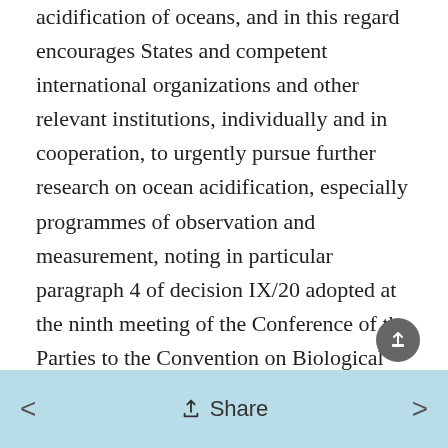acidification of oceans, and in this regard encourages States and competent international organizations and other relevant institutions, individually and in cooperation, to urgently pursue further research on ocean acidification, especially programmes of observation and measurement, noting in particular paragraph 4 of decision IX/20 adopted at the ninth meeting of the Conference of the Parties to the Convention on Biological Diversity, held in Bonn, Germany, from 19 to 30 May 2008,53 and the continued work of the Convention on Biological Diversity, and to increase
< Share >